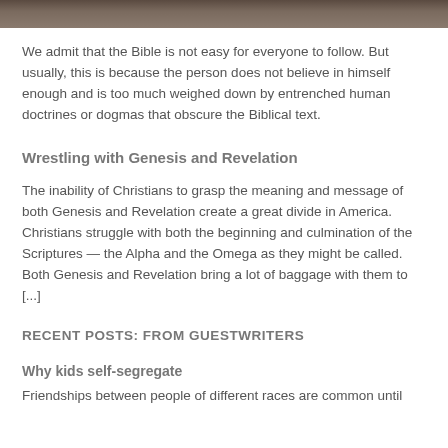[Figure (photo): Partial image strip at top of page, dark brown/earth tones]
We admit that the Bible is not easy for everyone to follow. But usually, this is because the person does not believe in himself enough and is too much weighed down by entrenched human doctrines or dogmas that obscure the Biblical text.
Wrestling with Genesis and Revelation
The inability of Christians to grasp the meaning and message of both Genesis and Revelation create a great divide in America. Christians struggle with both the beginning and culmination of the Scriptures — the Alpha and the Omega as they might be called. Both Genesis and Revelation bring a lot of baggage with them to [...]
RECENT POSTS: FROM GUESTWRITERS
Why kids self-segregate
Friendships between people of different races are common until